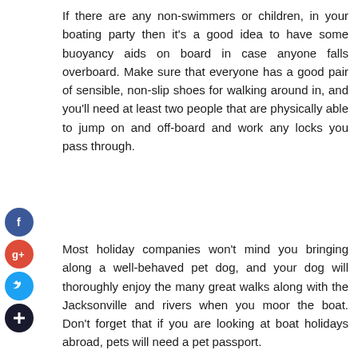If there are any non-swimmers or children, in your boating party then it's a good idea to have some buoyancy aids on board in case anyone falls overboard. Make sure that everyone has a good pair of sensible, non-slip shoes for walking around in, and you'll need at least two people that are physically able to jump on and off-board and work any locks you pass through.
Most holiday companies won't mind you bringing along a well-behaved pet dog, and your dog will thoroughly enjoy the many great walks along with the Jacksonville and rivers when you moor the boat. Don't forget that if you are looking at boat holidays abroad, pets will need a pet passport.